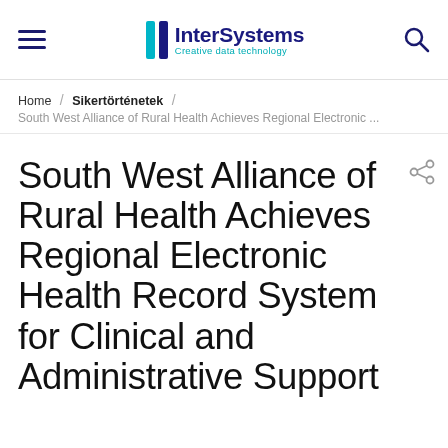InterSystems — Creative data technology
Home / Sikertörténetek / South West Alliance of Rural Health Achieves Regional Electronic ...
South West Alliance of Rural Health Achieves Regional Electronic Health Record System for Clinical and Administrative Support